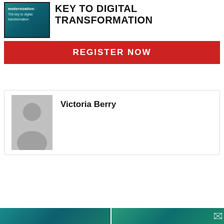[Figure (illustration): Book cover thumbnail with teal/dark background, text 'modernization: The key to digital transformation']
KEY TO DIGITAL TRANSFORMATION
REGISTER NOW
Victoria Berry
[Figure (photo): Placeholder profile photo silhouette on gray background]
[Figure (illustration): Bottom strip showing two teal-colored thumbnail images]